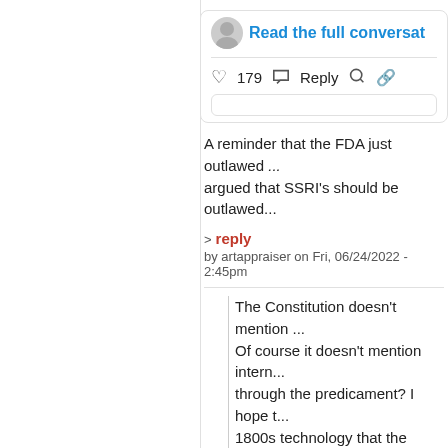[Figure (screenshot): Partial tweet card showing avatar and 'Read the full conversat...' link in blue, with like count 179, Reply, and link icons]
A reminder that the FDA just outlawed ... argued that SSRI's should be outlawed...
> reply
by artappraiser on Fri, 06/24/2022 - 2:45pm
The Constitution doesn't mention ... Of course it doesn't mention intern... through the predicament? I hope t... 1800s technology that the Forefat... it.
> reply
by PeraclesPlease on Fri, 06/24/202...
Bad side effect of overturning Roe vs. W...
[Figure (screenshot): Partial avatar at bottom of page]